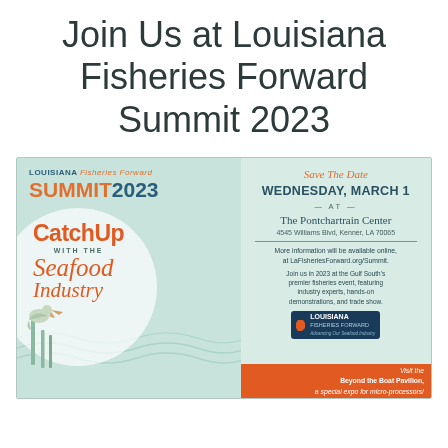Join Us at Louisiana Fisheries Forward Summit 2023
[Figure (illustration): Save The Date flyer for Louisiana Fisheries Forward Summit 2023. Left side shows 'LOUISIANA Fisheries Forward SUMMIT 2023' heading, a decorative circle with 'Catch Up WITH THE Seafood Industry' in orange script, pelican silhouette and reeds. Right side shows event details: WEDNESDAY, MARCH 1, AT The Pontchartrain Center, 4545 Williams Blvd, Kenner, LA 70065. More information at LaFisheriesForward.org/Summit. Louisiana Fisheries Forward logo. Orange strip at bottom right: 'Visit the Beyond the Boat Pavilion, a special expo for micro-processors!']